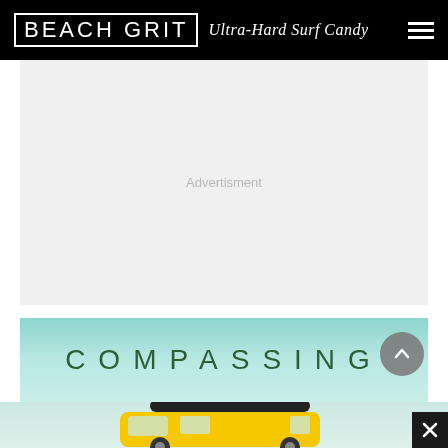BEACH GRIT Ultra-Hard Surf Candy
[Figure (other): Advertisement placeholder box with light gray background and 'Advertisment' text centered]
[Figure (other): Compassing title text on teal/aqua gradient background with yellow van partially visible below]
[Figure (other): Yellow van with surfboard on roof, partially cropped at bottom of page]